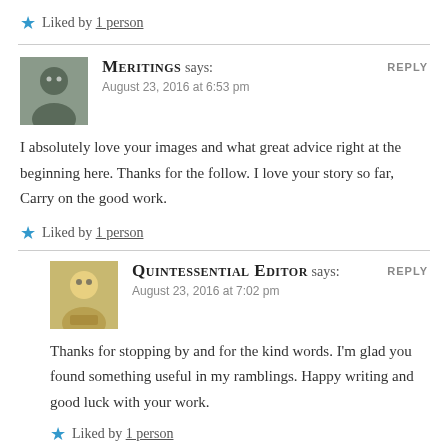★ Liked by 1 person
MERITINGS says:
August 23, 2016 at 6:53 pm
REPLY
I absolutely love your images and what great advice right at the beginning here. Thanks for the follow. I love your story so far, Carry on the good work.
★ Liked by 1 person
QUINTESSENTIAL EDITOR says:
August 23, 2016 at 7:02 pm
REPLY
Thanks for stopping by and for the kind words. I'm glad you found something useful in my ramblings. Happy writing and good luck with your work.
★ Liked by 1 person
GRANDTRINES says:
REPLY